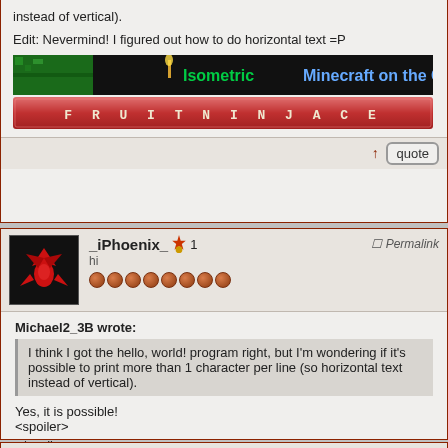instead of vertical).
Edit: Nevermind! I figured out how to do horizontal text =P
[Figure (screenshot): Two game banners: 'Isometric Minecraft on the CE' and 'FRUIT NINJA CE']
↑ quote
_iPhoenix_ 🏅 1
hi
●●●●●●●●
Permalink
Michael2_3B wrote:
I think I got the hello, world! program right, but I'm wondering if it's possible to print more than 1 character per line (so horizontal text instead of vertical).
Yes, it is possible!
<spoiler>

</spoiler>
[Figure (screenshot): iPhoenix for mod banner with red phoenix imagery]
↑ quote
juju2143 🏅 1
Member
Permalink